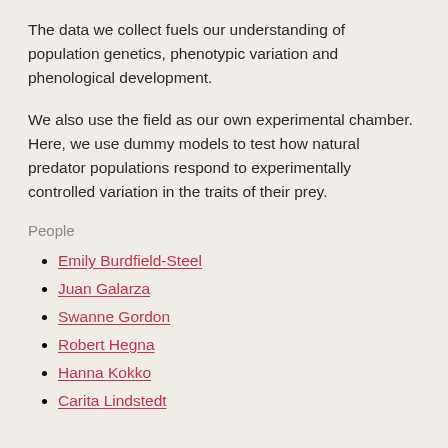The data we collect fuels our understanding of population genetics, phenotypic variation and phenological development.
We also use the field as our own experimental chamber. Here, we use dummy models to test how natural predator populations respond to experimentally controlled variation in the traits of their prey.
People
Emily Burdfield-Steel
Juan Galarza
Swanne Gordon
Robert Hegna
Hanna Kokko
Carita Lindstedt